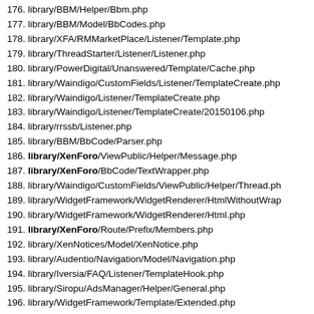176. library/BBM/Helper/Bbm.php
177. library/BBM/Model/BbCodes.php
178. library/XFA/RMMarketPlace/Listener/Template.php
179. library/ThreadStarter/Listener/Listener.php
180. library/PowerDigital/Unanswered/Template/Cache.php
181. library/Waindigo/CustomFields/Listener/TemplateCreate.php
182. library/Waindigo/Listener/TemplateCreate.php
183. library/Waindigo/Listener/TemplateCreate/20150106.php
184. library/rrssb/Listener.php
185. library/BBM/BbCode/Parser.php
186. library/XenForo/ViewPublic/Helper/Message.php
187. library/XenForo/BbCode/TextWrapper.php
188. library/Waindigo/CustomFields/ViewPublic/Helper/Thread.php
189. library/WidgetFramework/WidgetRenderer/HtmlWithoutWrap...
190. library/WidgetFramework/WidgetRenderer/Html.php
191. library/XenForo/Route/Prefix/Members.php
192. library/XenNotices/Model/XenNotice.php
193. library/Audentio/Navigation/Model/Navigation.php
194. library/Iversia/FAQ/Listener/TemplateHook.php
195. library/Siropu/AdsManager/Helper/General.php
196. library/WidgetFramework/Template/Extended.php
197. library/LinkedInShare/Listener.php
198. library/PowerDigital/Unanswered/Template/Hook.php
199. library/Waindigo/CustomFields/Listener/TemplateHook.php
200. library/Waindigo/Listener/TemplateHook.php
201. library/Waindigo/Listener/TemplateHook/20150106.php